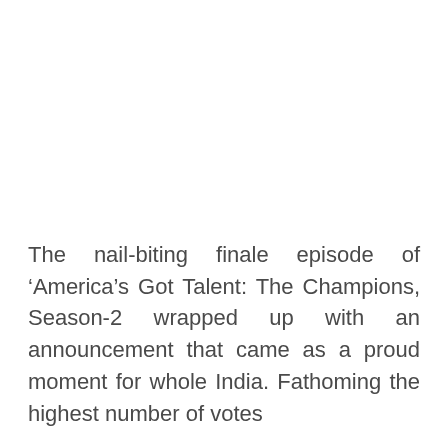The nail-biting finale episode of ‘America’s Got Talent: The Champions, Season-2 wrapped up with an announcement that came as a proud moment for whole India. Fathoming the highest number of votes